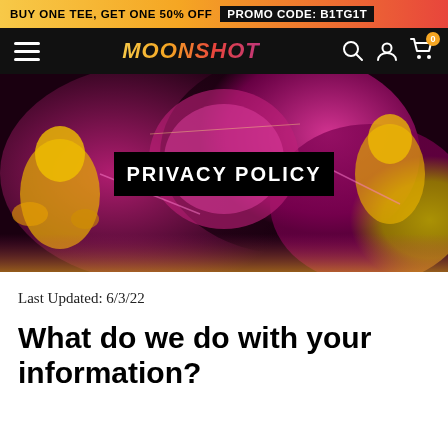BUY ONE TEE, GET ONE 50% OFF PROMO CODE: B1TG1T
[Figure (screenshot): Moonshot brand navigation bar with hamburger menu, logo, search, account, and cart icons on dark background]
[Figure (photo): Hero banner image with psychedelic magenta/yellow astronaut artwork and PRIVACY POLICY text overlay on black box]
Last Updated: 6/3/22
What do we do with your information?